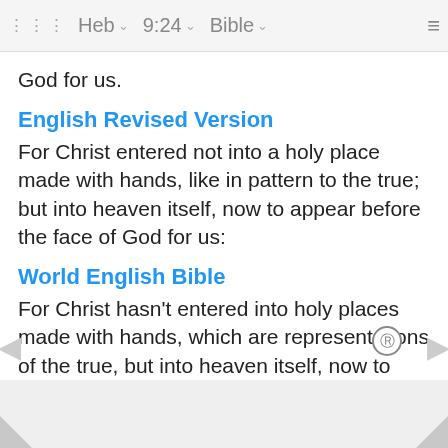⠿  Heb  ∨  9:24  ∨  Bible  ∨  ≡
God for us.
English Revised Version
For Christ entered not into a holy place made with hands, like in pattern to the true; but into heaven itself, now to appear before the face of God for us:
World English Bible
For Christ hasn't entered into holy places made with hands, which are representations of the true, but into heaven itself, now to appear in the presence of God for us;
Young's Literal Translation
for not into holy places made with hands did the Christ enter -- figures of the true -- but into the heaven itself, now to appear in the presence of God for us;